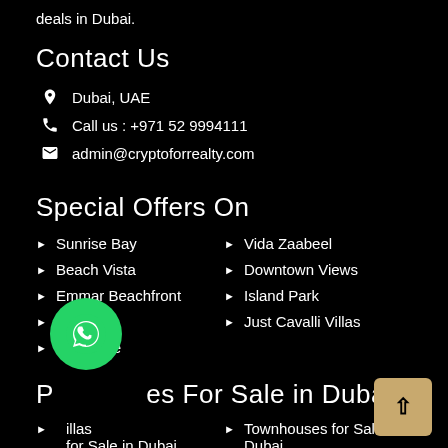deals in Dubai.
Contact Us
Dubai, UAE
Call us : +971 52 9994111
admin@cryptoforrealty.com
Special Offers On
Sunrise Bay
Beach Vista
Emmar Beachfront
Grande
Collective
Vida Zaabeel
Downtown Views
Island Park
Just Cavalli Villas
Properties For Sale in Dubai
Villas for Sale in Dubai
Apartments for Sale in Dubai
Townhouses for Sale in Dubai
Penthouses for Sale in